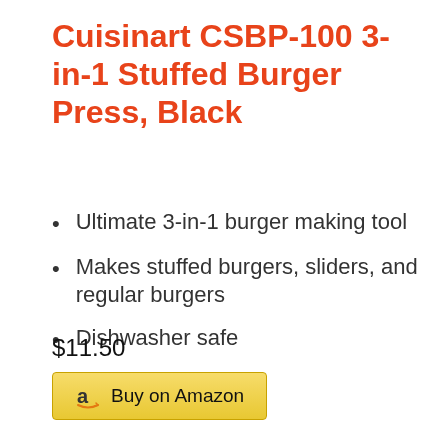Cuisinart CSBP-100 3-in-1 Stuffed Burger Press, Black
Ultimate 3-in-1 burger making tool
Makes stuffed burgers, sliders, and regular burgers
Dishwasher safe
Non-stick coating
$11.50
Buy on Amazon